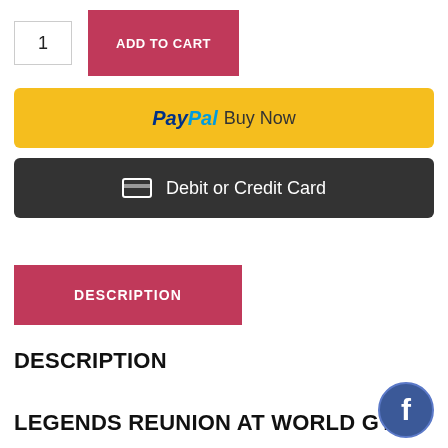1
ADD TO CART
[Figure (other): PayPal Buy Now button with yellow background]
[Figure (other): Debit or Credit Card button with dark background and card icon]
DESCRIPTION
DESCRIPTION
LEGENDS REUNION AT WORLD GYM
[Figure (logo): Facebook circular icon in blue]